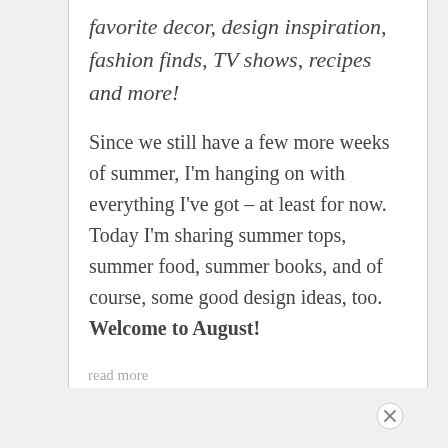favorite decor, design inspiration, fashion finds, TV shows, recipes and more!
Since we still have a few more weeks of summer, I'm hanging on with everything I've got – at least for now. Today I'm sharing summer tops, summer food, summer books, and of course, some good design ideas, too. Welcome to August!